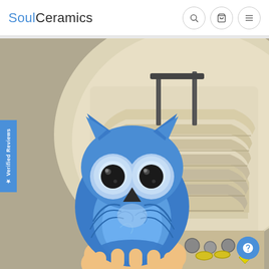SoulCeramics
[Figure (photo): A blue ceramic owl figurine being held in front of a ceramic kiln with stacked shelves. The owl has large black glossy eyes and detailed blue glaze with white highlights. The kiln interior shows beige/cream refractory bricks and shelves with small ceramic pieces visible at the bottom right.]
★ Verified Reviews